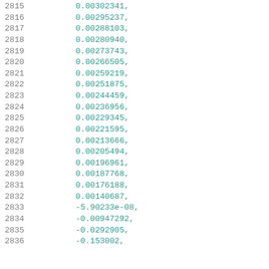2815    0.00302341,
2816    0.00295237,
2817    0.00288103,
2818    0.00280940,
2819    0.00273743,
2820    0.00266505,
2821    0.00259219,
2822    0.00251875,
2823    0.00244459,
2824    0.00236956,
2825    0.00229345,
2826    0.00221595,
2827    0.00213666,
2828    0.00205494,
2829    0.00196961,
2830    0.00187768,
2831    0.00176188,
2832    0.00140687,
2833    -5.90233e-08,
2834    -0.00947292,
2835    -0.0292905,
2836    -0.153002,